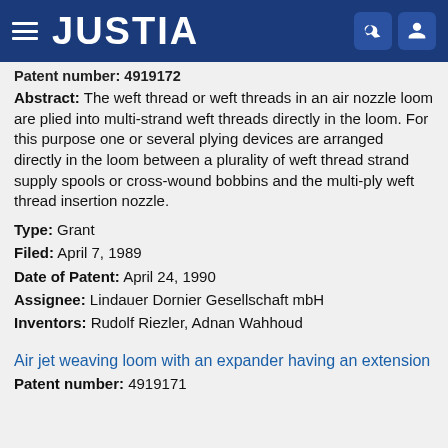JUSTIA
Patent number: 4919172
Abstract: The weft thread or weft threads in an air nozzle loom are plied into multi-strand weft threads directly in the loom. For this purpose one or several plying devices are arranged directly in the loom between a plurality of weft thread strand supply spools or cross-wound bobbins and the multi-ply weft thread insertion nozzle.
Type: Grant
Filed: April 7, 1989
Date of Patent: April 24, 1990
Assignee: Lindauer Dornier Gesellschaft mbH
Inventors: Rudolf Riezler, Adnan Wahhoud
Air jet weaving loom with an expander having an extension
Patent number: 4919171